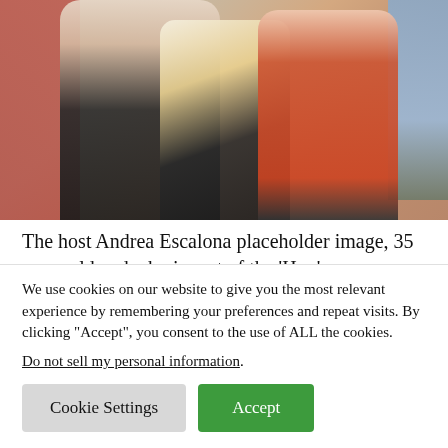[Figure (photo): Two people posing together outdoors near a brick wall; one in a black jacket with a patterned dress, another in an orange/red dress.]
The host Andrea Escalona placeholder image, 35 years old and who is part of the ‘Hoy’ program, decided to decorate his home by Christmas with various elements that reminded him of his
We use cookies on our website to give you the most relevant experience by remembering your preferences and repeat visits. By clicking “Accept”, you consent to the use of ALL the cookies.
Do not sell my personal information.